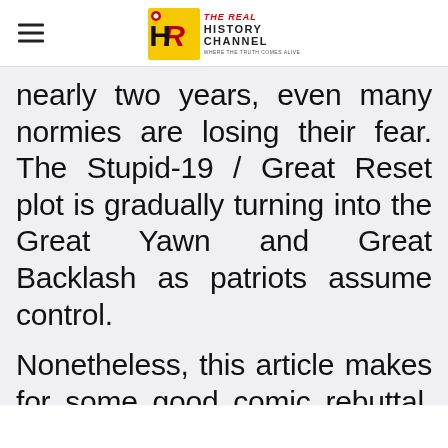THE REAL HISTORY CHANNEL — WHERE THE TRUTH COMES ALIVE
nearly two years, even many normies are losing their fear. The Stupid-19 / Great Reset plot is gradually turning into the Great Yawn and Great Backlash as patriots assume control.
Nonetheless, this article makes for some good comic rebuttal. Hazmat suits and